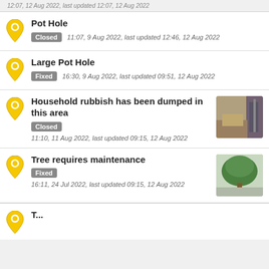12:07, 12 Aug 2022, last updated 12:07, 12 Aug 2022
Pot Hole | Closed | 11:07, 9 Aug 2022, last updated 12:46, 12 Aug 2022
Large Pot Hole | Fixed | 16:30, 9 Aug 2022, last updated 09:51, 12 Aug 2022
Household rubbish has been dumped in this area | Closed | 11:10, 11 Aug 2022, last updated 09:15, 12 Aug 2022
Tree requires maintenance | Fixed | 16:11, 24 Jul 2022, last updated 09:15, 12 Aug 2022
Tree requires maintenance (partial)